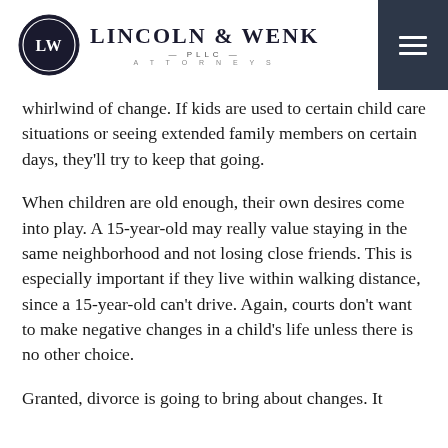Lincoln & Wenk PLLC Attorneys
whirlwind of change. If kids are used to certain child care situations or seeing extended family members on certain days, they'll try to keep that going.
When children are old enough, their own desires come into play. A 15-year-old may really value staying in the same neighborhood and not losing close friends. This is especially important if they live within walking distance, since a 15-year-old can't drive. Again, courts don't want to make negative changes in a child's life unless there is no other choice.
Granted, divorce is going to bring about changes. It